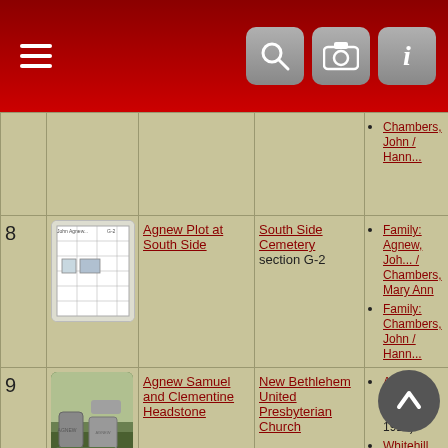App toolbar with hamburger menu, search, camera, and info icons
| # | Image | Record | Location | Date | Related Names |
| --- | --- | --- | --- | --- | --- |
|  |  | Chambers, John / Hann... |  |  |  |
| 8 | [plot map image] | Agnew Plot at South Side | South Side Cemetery section G-2 |  | Family: Agnew, John / Chambers, Mary Ann; Family: Chambers, John / Hann... |
| 9 | [headstone photo] | Agnew Samuel and Clementine Headstone | New Bethlehem United Presbyterian Church |  | Agnew, Samuel C. (d. 16 Jan 1915); Whitehill, Clementine Deborah (d. 16 Mar 1918) |
| 10 | [headstone photo] | Agnew Samuel Clementine Sara Headstones | New Bethlehem United Presbyterian Church |  | Agnew, Sa... (d. 11 Jan 1915); Agnew,... |